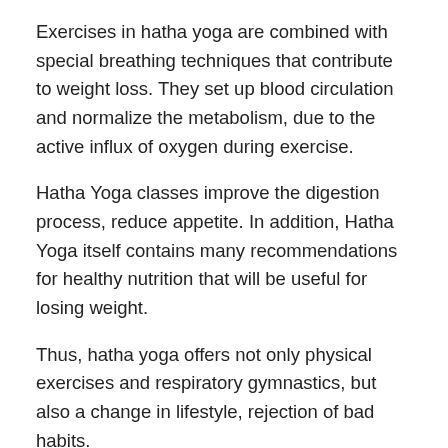Exercises in hatha yoga are combined with special breathing techniques that contribute to weight loss. They set up blood circulation and normalize the metabolism, due to the active influx of oxygen during exercise.
Hatha Yoga classes improve the digestion process, reduce appetite. In addition, Hatha Yoga itself contains many recommendations for healthy nutrition that will be useful for losing weight.
Thus, hatha yoga offers not only physical exercises and respiratory gymnastics, but also a change in lifestyle, rejection of bad habits.
See also  6 Tips for your first Yoga class